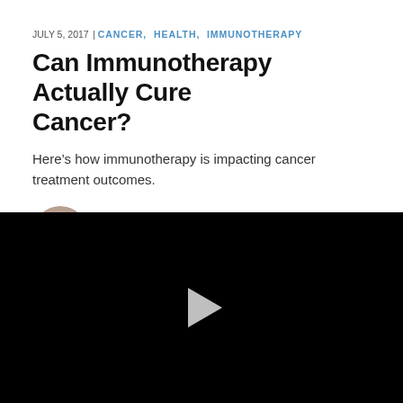JULY 5, 2017 | CANCER, HEALTH, IMMUNOTHERAPY
Can Immunotherapy Actually Cure Cancer?
Here’s how immunotherapy is impacting cancer treatment outcomes.
BY LAUREN SMITH
[Figure (screenshot): Black video player with white play button triangle in center]